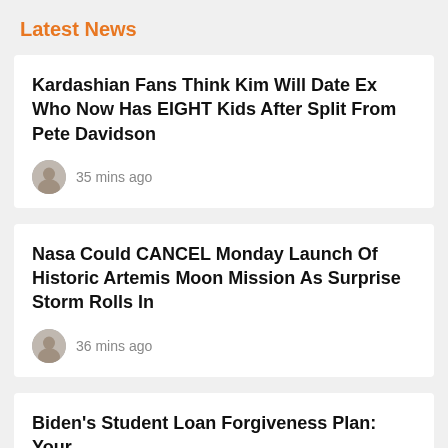Latest News
Kardashian Fans Think Kim Will Date Ex Who Now Has EIGHT Kids After Split From Pete Davidson — 35 mins ago
Nasa Could CANCEL Monday Launch Of Historic Artemis Moon Mission As Surprise Storm Rolls In — 36 mins ago
Biden's Student Loan Forgiveness Plan: Your